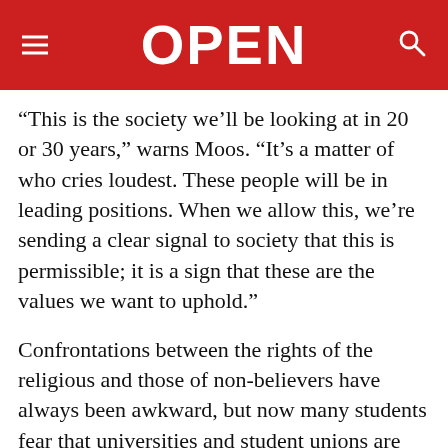OPEN
“This is the society we’ll be looking at in 20 or 30 years,” warns Moos. “It’s a matter of who cries loudest. These people will be in leading positions. When we allow this, we’re sending a clear signal to society that this is permissible; it is a sign that these are the values we want to uphold.”
Confrontations between the rights of the religious and those of non-believers have always been awkward, but now many students fear that universities and student unions are acting in favour of the radically religious. It has been